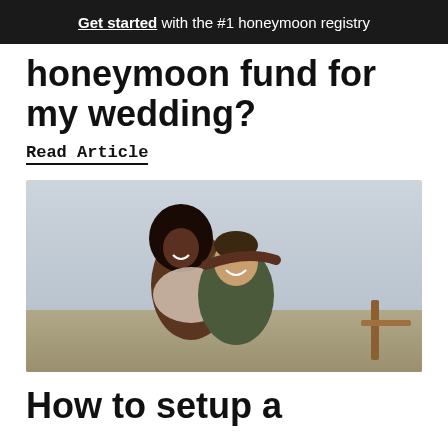Get started with the #1 honeymoon registry
honeymoon fund for my wedding?
Read Article
[Figure (photo): A smiling couple on a beach. A woman with curly hair hugs a man from behind, both laughing.]
How to setup a